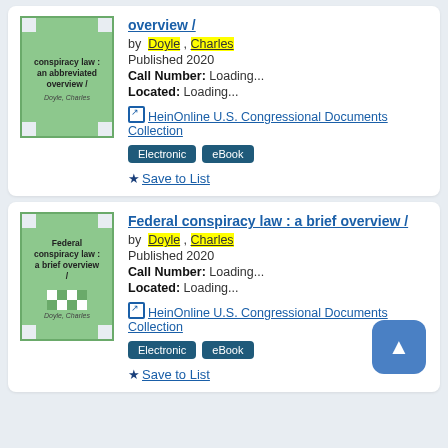[Figure (illustration): Book cover: green with notched corners, title 'conspiracy law : an abbreviated overview /', author 'Doyle, Charles']
Federal conspiracy law : an abbreviated overview / by Doyle, Charles. Published 2020. Call Number: Loading... Located: Loading... HeinOnline U.S. Congressional Documents Collection. Electronic. eBook. Save to List
[Figure (illustration): Book cover: green checkerboard pattern, title 'Federal conspiracy law : a brief overview /', author 'Doyle, Charles']
Federal conspiracy law : a brief overview / by Doyle, Charles. Published 2020. Call Number: Loading... Located: Loading... HeinOnline U.S. Congressional Documents Collection. Electronic. eBook. Save to List